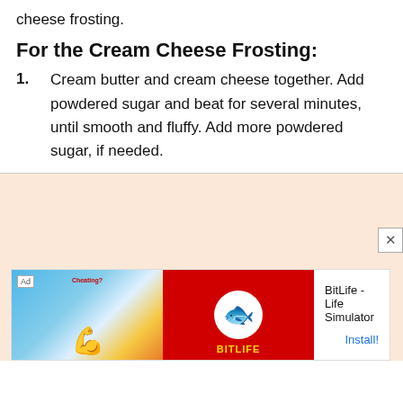cheese frosting.
For the Cream Cheese Frosting:
Cream butter and cream cheese together. Add powdered sugar and beat for several minutes, until smooth and fluffy. Add more powdered sugar, if needed.
[Figure (screenshot): Advertisement banner for BitLife - Life Simulator app with colorful left panel showing a flexing arm emoji and a red right panel with a sperm icon, alongside Install button]
Ad
BitLife - Life Simulator
Install!